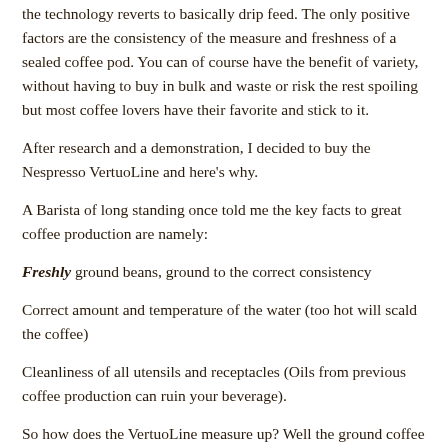the technology reverts to basically drip feed. The only positive factors are the consistency of the measure and freshness of a sealed coffee pod. You can of course have the benefit of variety, without having to buy in bulk and waste or risk the rest spoiling but most coffee lovers have their favorite and stick to it.
After research and a demonstration, I decided to buy the Nespresso VertuoLine and here's why.
A Barista of long standing once told me the key facts to great coffee production are namely:
Freshly ground beans, ground to the correct consistency
Correct amount and temperature of the water (too hot will scald the coffee)
Cleanliness of all utensils and receptacles (Oils from previous coffee production can ruin your beverage).
So how does the VertuoLine measure up? Well the ground coffee is pressure sealed so is as fresh as possible. Nespresso pods can be